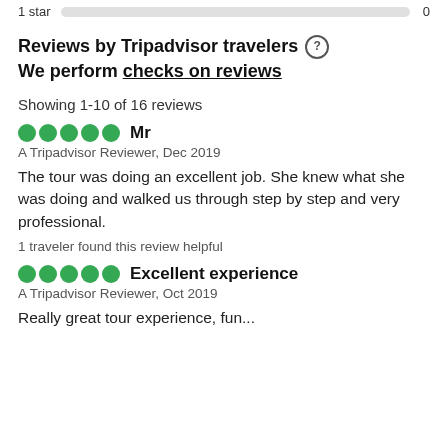1 star   0
Reviews by Tripadvisor travelers  ? We perform checks on reviews
Showing 1-10 of 16 reviews
Mr
A Tripadvisor Reviewer, Dec 2019
The tour was doing an excellent job. She knew what she was doing and walked us through step by step and very professional.
1 traveler found this review helpful
Excellent experience
A Tripadvisor Reviewer, Oct 2019
Really great tour experience, fun...